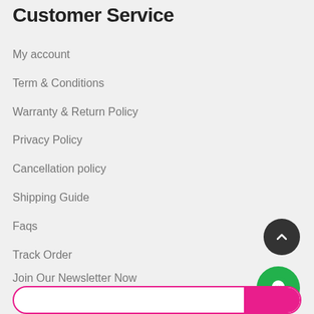Customer Service
My account
Term & Conditions
Warranty & Return Policy
Privacy Policy
Cancellation policy
Shipping Guide
Faqs
Track Order
Join Our Newsletter Now
[Figure (illustration): Dark circular back-to-top button with upward chevron arrow]
[Figure (illustration): Green circular chat button with speech bubble icon]
[Figure (illustration): Pink/magenta pill-shaped newsletter input bar with colored right section]